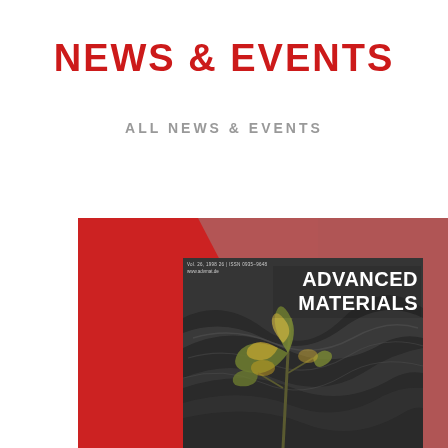NEWS & EVENTS
ALL NEWS & EVENTS
[Figure (photo): Advanced Materials journal cover showing an artistic illustration of a plant/leaf in a swirling water-like background, with red cover design elements. The magazine cover shows 'ADVANCED MATERIALS' text prominently in white bold font.]